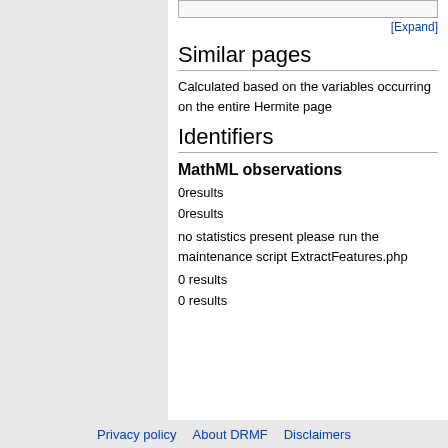[Expand]
Similar pages
Calculated based on the variables occurring on the entire Hermite page
Identifiers
MathML observations
0results
0results
no statistics present please run the maintenance script ExtractFeatures.php
0 results
0 results
Privacy policy   About DRMF   Disclaimers